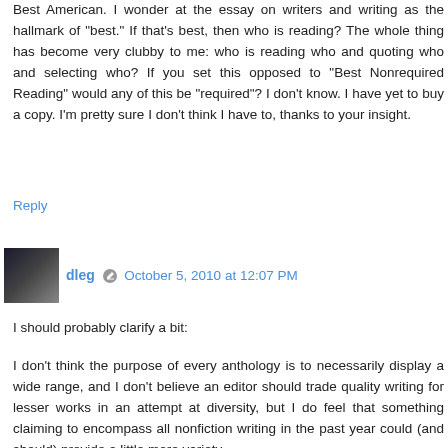Best American. I wonder at the essay on writers and writing as the hallmark of "best." If that's best, then who is reading? The whole thing has become very clubby to me: who is reading who and quoting who and selecting who? If you set this opposed to "Best Nonrequired Reading" would any of this be "required"? I don't know. I have yet to buy a copy. I'm pretty sure I don't think I have to, thanks to your insight.
Reply
dleg   October 5, 2010 at 12:07 PM
I should probably clarify a bit:
I don't think the purpose of every anthology is to necessarily display a wide range, and I don't believe an editor should trade quality writing for lesser works in an attempt at diversity, but I do feel that something claiming to encompass all nonfiction writing in the past year could (and should) provide a little more variety.
Reply